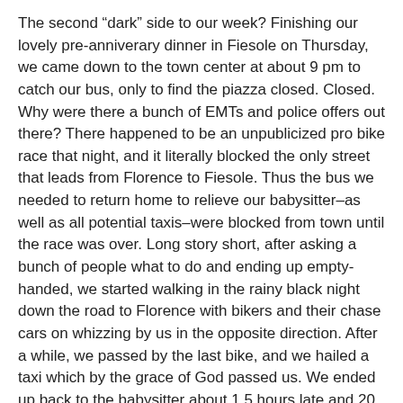The second “dark” side to our week? Finishing our lovely pre-anniverary dinner in Fiesole on Thursday, we came down to the town center at about 9 pm to catch our bus, only to find the piazza closed. Closed. Why were there a bunch of EMTs and police offers out there? There happened to be an unpublicized pro bike race that night, and it literally blocked the only street that leads from Florence to Fiesole. Thus the bus we needed to return home to relieve our babysitter–as well as all potential taxis–were blocked from town until the race was over. Long story short, after asking a bunch of people what to do and ending up empty-handed, we started walking in the rainy black night down the road to Florence with bikers and their chase cars on whizzing by us in the opposite direction. After a while, we passed by the last bike, and we hailed a taxi which by the grace of God passed us. We ended up back to the babysitter about 1.5 hours late and 20 euros poorer, but at least we made it–and the kids were asleep.
So to conclude: traveling in Italy is great, but it is also work that builds virtue or at least can. Until next time, continue to enjoy the history and beauty in the photos below.